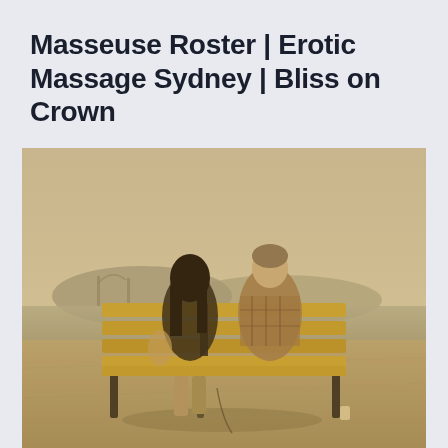Masseuse Roster | Erotic Massage Sydney | Bliss on Crown
[Figure (photo): Two people sitting side by side on a wooden bench viewed from behind, looking out toward a body of water with hills and a bridge in the distance. The image has a warm sepia/golden tone. The person on the left has long dark hair, the person on the right wears a plaid shirt. The bench has vertical wooden slats and metal frame.]